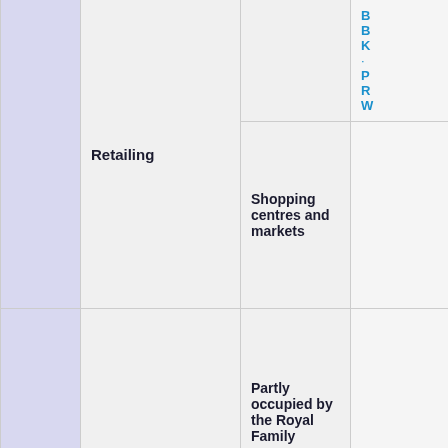|  | Category | Subcategory | Examples |
| --- | --- | --- | --- |
|  | Retailing | Shopping centres and markets | B... B... K... · ... P... R... W... |
|  | Royal buildings | Partly occupied by the Royal Family |  |
|  | Royal buildings | Unoccupied |  |
|  | Skyscrapers |  | Broadgate Tower · 1 Cana... 25 Canada Square · 1 Ch... Heron Tower · Leadenhall... St George Wharf Tower · ... |